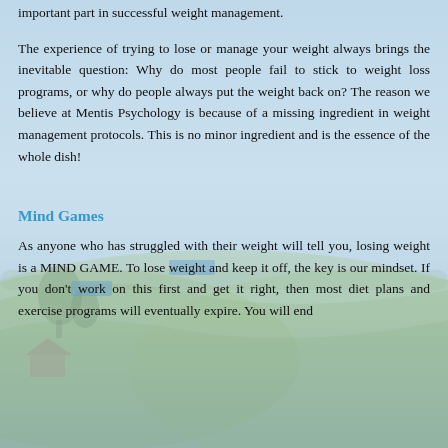important part in successful weight management.
The experience of trying to lose or manage your weight always brings the inevitable question: Why do most people fail to stick to weight loss programs, or why do people always put the weight back on? The reason we believe at Mentis Psychology is because of a missing ingredient in weight management protocols. This is no minor ingredient and is the essence of the whole dish!
Mind Games
As anyone who has struggled with their weight will tell you, losing weight is a MIND GAME. To lose weight and keep it off, the key is our mindset. If you don't work on this first and get it right, then most diet plans and exercise programs will eventually expire. You will end